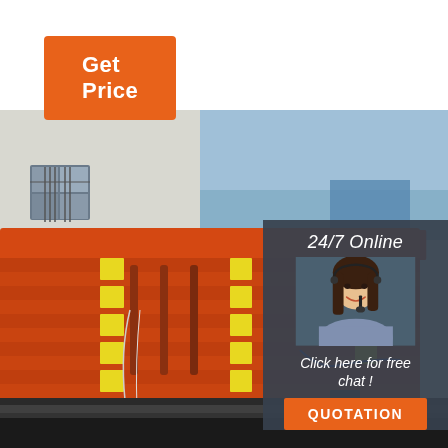[Figure (other): Orange button labeled Get Price on white background]
[Figure (photo): Large red/orange industrial scissor lift tables or heavy equipment stacked on a flatbed truck, with yellow reflective markers, hydraulic cylinders visible, photographed outdoors]
[Figure (infographic): Dark overlay panel showing 24/7 Online label, customer service agent photo (woman with headset smiling), text 'Click here for free chat!', and orange QUOTATION button]